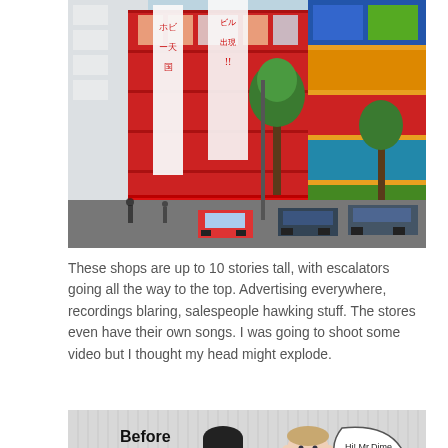[Figure (photo): Street-level photo of Akihabara, Tokyo, showing tall multi-story retail buildings covered with large Japanese advertising signs, red awnings, trees, and busy street traffic including a red taxi and various vehicles.]
These shops are up to 10 stories tall, with escalators going all the way to the top. Advertising everywhere, recordings blaring, salespeople hawking stuff. The stores even have their own songs. I was going to shoot some video but I thought my head might explode.
[Figure (illustration): Comic/illustration image showing two men facing each other. On the left side reads 'Before' in bold text. The left man (Japanese) has a thought bubble with dots. The right man (Western, in suit with red tie) has a speech bubble saying 'Hi! Mr.Dime, Are you OK?']